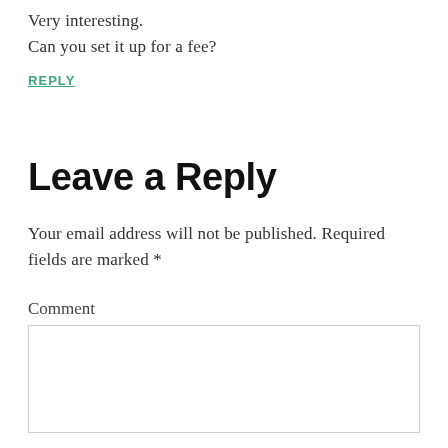Very interesting.
Can you set it up for a fee?
REPLY
Leave a Reply
Your email address will not be published. Required fields are marked *
Comment